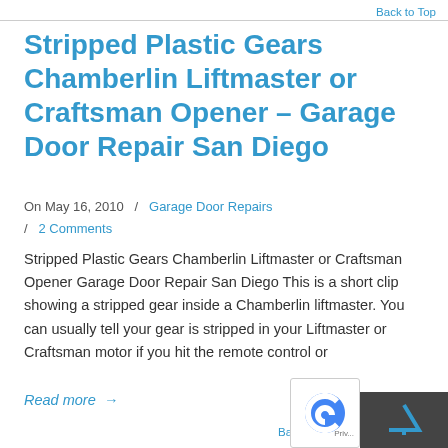Back to Top
Stripped Plastic Gears Chamberlin Liftmaster or Craftsman Opener – Garage Door Repair San Diego
On May 16, 2010  /  Garage Door Repairs  /  2 Comments
Stripped Plastic Gears Chamberlin Liftmaster or Craftsman Opener Garage Door Repair San Diego This is a short clip showing a stripped gear inside a Chamberlin liftmaster. You can usually tell your gear is stripped in your Liftmaster or Craftsman motor if you hit the remote control or
Read more →
Back to Top